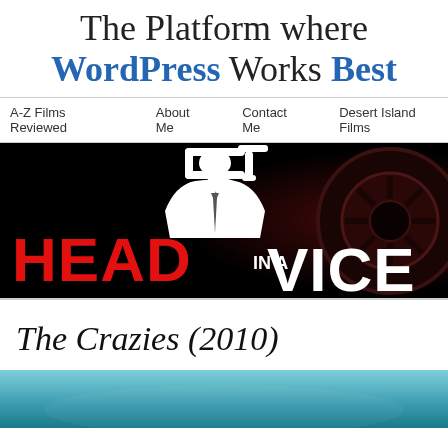The Platform where WordPress Works Best
A-Z Films Reviewed   About Me   Contact Me   Desert Island Films
[Figure (logo): Head In A Vice blog logo: white silhouette of a man in a suit with a C-clamp on his head, text 'HEAD IN A VICE' in red and white on black background with a film reel on the right side]
The Crazies (2010)
[Figure (photo): Partial thumbnail image at the bottom of the page, teal/blue colored scene from The Crazies (2010)]